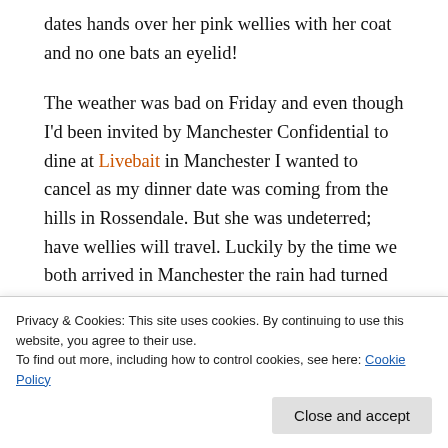dates hands over her pink wellies with her coat and no one bats an eyelid!
The weather was bad on Friday and even though I'd been invited by Manchester Confidential to dine at Livebait in Manchester I wanted to cancel as my dinner date was coming from the hills in Rossendale. But she was undeterred; have wellies will travel. Luckily by the time we both arrived in Manchester the rain had turned to snow and, unconventional footware stowed away, our thoughts could finally turn to the food.
…hadn't seen the menu before hand, and was struggling to choose, as many of the dishes appealed to me. However I was mildly annoyed when we were handed the menus and there were different dishes
Privacy & Cookies: This site uses cookies. By continuing to use this website, you agree to their use. To find out more, including how to control cookies, see here: Cookie Policy